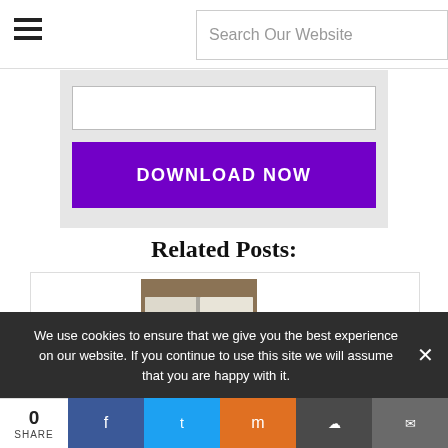Search Our Website
[Figure (screenshot): Download Now form with text input field and purple Download Now button on grey background]
Related Posts:
[Figure (photo): Lectionary Poetry book cover from Englewood Review of Books, shown on open book]
We use cookies to ensure that we give you the best experience on our website. If you continue to use this site we will assume that you are happy with it.
0 SHARE